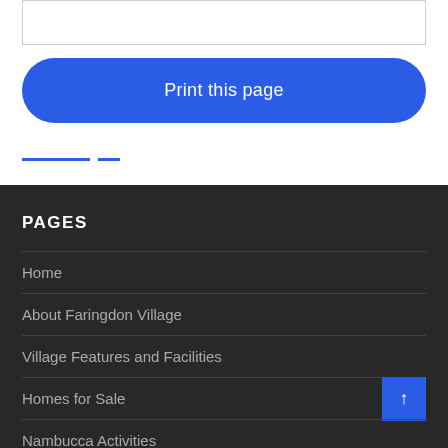[Figure (screenshot): Empty bordered box at top of page representing a UI input or image placeholder]
[Figure (other): Blue dashed horizontal divider lines]
Print this page
PAGES
Home
About Faringdon Village
Village Features and Facilities
Homes for Sale
Nambucca Activities